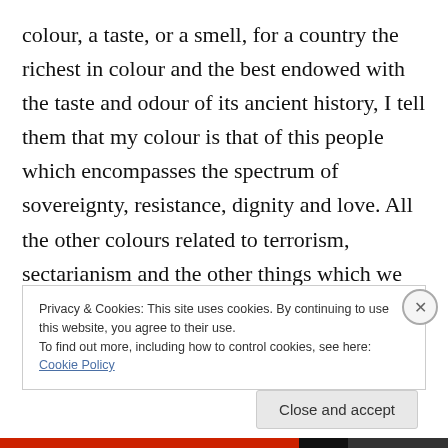colour, a taste, or a smell, for a country the richest in colour and the best endowed with the taste and odour of its ancient history, I tell them that my colour is that of this people which encompasses the spectrum of sovereignty, resistance, dignity and love. All the other colours related to terrorism, sectarianism and the other things which we have seen recently are alien and do not belong to us and they will ultimately diminish and disappear.
Privacy & Cookies: This site uses cookies. By continuing to use this website, you agree to their use.
To find out more, including how to control cookies, see here: Cookie Policy
Close and accept